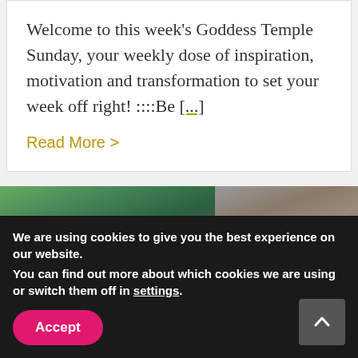Welcome to this week's Goddess Temple Sunday, your weekly dose of inspiration, motivation and transformation to set your week off right! ::::Be [...]
Read More >
[Figure (photo): Partial photo of person outdoors among trees and stone structures, cropped at bottom of card]
We are using cookies to give you the best experience on our website.
You can find out more about which cookies we are using or switch them off in settings.
Accept